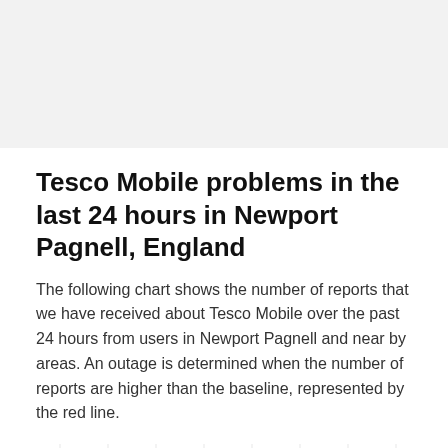Tesco Mobile problems in the last 24 hours in Newport Pagnell, England
The following chart shows the number of reports that we have received about Tesco Mobile over the past 24 hours from users in Newport Pagnell and near by areas. An outage is determined when the number of reports are higher than the baseline, represented by the red line.
[Figure (continuous-plot): Partial view of a bar/line chart showing number of reports over the last 24 hours. Y-axis shows value of 3 on both left and right sides. Chart is cut off at the bottom of the page.]